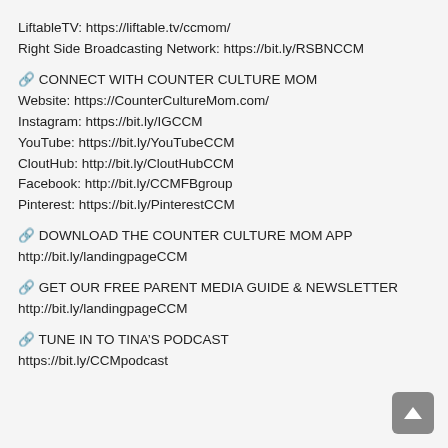LiftableTV: https://liftable.tv/ccmom/
Right Side Broadcasting Network: https://bit.ly/RSBNCCM
🔗 CONNECT WITH COUNTER CULTURE MOM
Website: https://CounterCultureMom.com/
Instagram: https://bit.ly/IGCCM
YouTube: https://bit.ly/YouTubeCCM
CloutHub: http://bit.ly/CloutHubCCM
Facebook: http://bit.ly/CCMFBgroup
Pinterest: https://bit.ly/PinterestCCM
🔗 DOWNLOAD THE COUNTER CULTURE MOM APP
http://bit.ly/landingpageCCM
🔗 GET OUR FREE PARENT MEDIA GUIDE & NEWSLETTER
http://bit.ly/landingpageCCM
🔗 TUNE IN TO TINA'S PODCAST
https://bit.ly/CCMpodcast